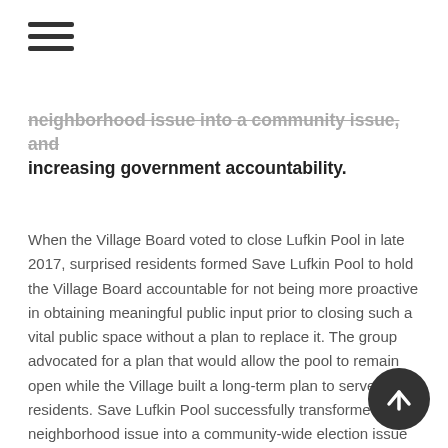[Figure (other): Hamburger menu icon (three horizontal lines)]
neighborhood issue into a community issue, and increasing government accountability.
When the Village Board voted to close Lufkin Pool in late 2017, surprised residents formed Save Lufkin Pool to hold the Village Board accountable for not being more proactive in obtaining meaningful public input prior to closing such a vital public space without a plan to replace it. The group advocated for a plan that would allow the pool to remain open while the Village built a long-term plan to serve residents. Save Lufkin Pool successfully transformed their neighborhood issue into a community-wide election issue that affected the Village Board's composition, organized neighbors to attend and speak out at Village meetings, and uncovered a failure of the Village to comply with bidding requirements. While the pool was ultimately demolished, Save Lufkin Pool organizers were